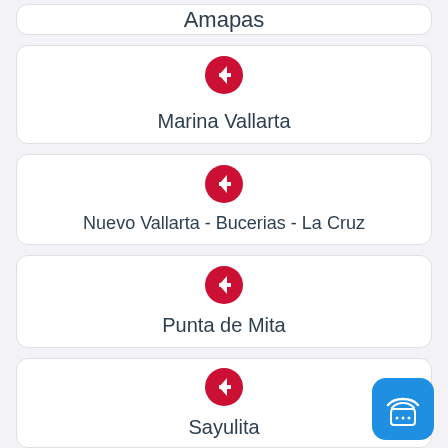Amapas
Marina Vallarta
Nuevo Vallarta - Bucerias - La Cruz
Punta de Mita
Sayulita
[Figure (other): Blue rounded square chat/broadcast button with wifi and ellipsis icons, positioned bottom-right]